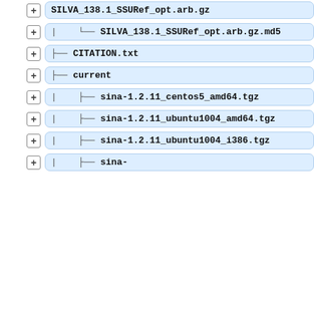+ SILVA_138.1_SSURef_opt.arb.gz
+ |   └── SILVA_138.1_SSURef_opt.arb.gz.md5
+ ├── CITATION.txt
+ ├── current
+ |   ├── sina-1.2.11_centos5_amd64.tgz
+ |   ├── sina-1.2.11_ubuntu1004_amd64.tgz
+ |   ├── sina-1.2.11_ubuntu1004_i386.tgz
+ |   ├── sina-